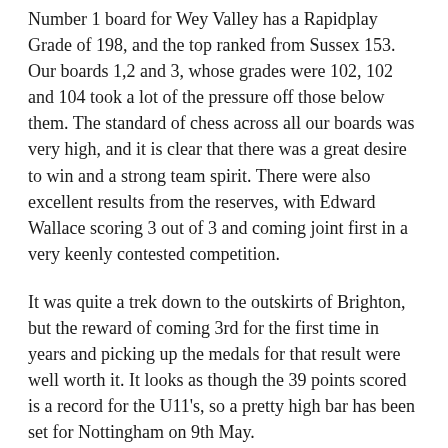Number 1 board for Wey Valley has a Rapidplay Grade of 198, and the top ranked from Sussex 153. Our boards 1,2 and 3, whose grades were 102, 102 and 104 took a lot of the pressure off those below them. The standard of chess across all our boards was very high, and it is clear that there was a great desire to win and a strong team spirit. There were also excellent results from the reserves, with Edward Wallace scoring 3 out of 3 and coming joint first in a very keenly contested competition.
It was quite a trek down to the outskirts of Brighton, but the reward of coming 3rd for the first time in years and picking up the medals for that result were well worth it. It looks as though the 39 points scored is a record for the U11's, so a pretty high bar has been set for Nottingham on 9th May.
Full results can be found at the link below.